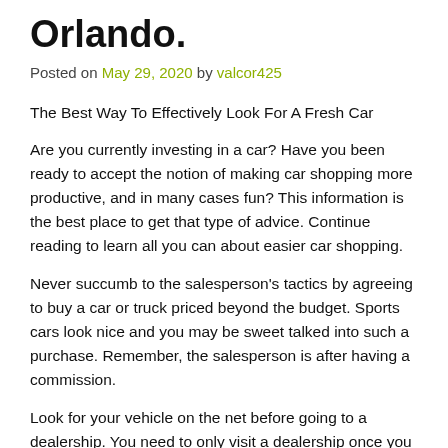Orlando.
Posted on May 29, 2020 by valcor425
The Best Way To Effectively Look For A Fresh Car
Are you currently investing in a car? Have you been ready to accept the notion of making car shopping more productive, and in many cases fun? This information is the best place to get that type of advice. Continue reading to learn all you can about easier car shopping.
Never succumb to the salesperson's tactics by agreeing to buy a car or truck priced beyond the budget. Sports cars look nice and you may be sweet talked into such a purchase. Remember, the salesperson is after having a commission.
Look for your vehicle on the net before going to a dealership. You need to only visit a dealership once you